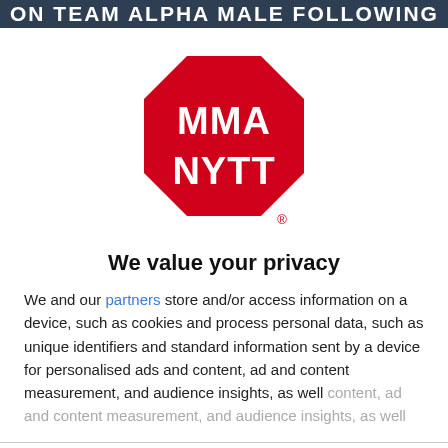ON TEAM ALPHA MALE FOLLOWING
[Figure (logo): MMA NYTT logo — red octagon (stop sign shape) with white text 'MMA NYTT' inside, registered trademark symbol below]
We value your privacy
We and our partners store and/or access information on a device, such as cookies and process personal data, such as unique identifiers and standard information sent by a device for personalised ads and content, ad and content measurement, and audience insights, as well
AGREE
MORE OPTIONS
December 2015 and he looked better than ever as he